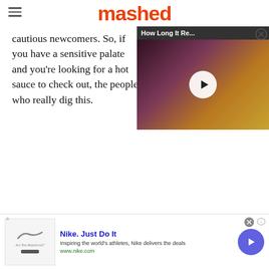mashed
cautious newcomers. So, if you have a sensitive palate and you're looking for a hot sauce to check out, the people who really dig this.
[Figure (screenshot): Video overlay thumbnail showing 'How Long It Re...' title bar and a food image with a play button]
[Figure (screenshot): Nike advertisement: 'Nike. Just Do It' — Inspiring the world's athletes, Nike delivers the deals — www.nike.com]